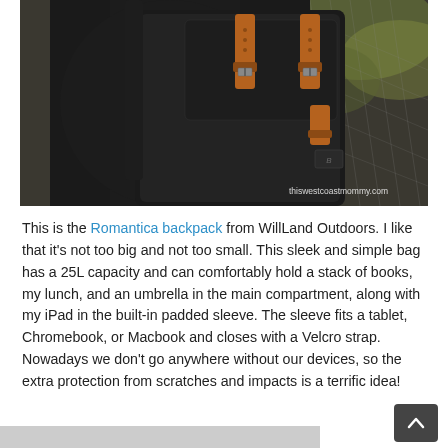[Figure (photo): A person wearing a black WillLand Outdoors Romantica backpack with brown leather straps and buckles, standing in front of a chain-link fence. Watermark 'thiswestcoastmommy.com' in bottom right corner.]
This is the Romantica backpack from WillLand Outdoors. I like that it's not too big and not too small. This sleek and simple bag has a 25L capacity and can comfortably hold a stack of books, my lunch, and an umbrella in the main compartment, along with my iPad in the built-in padded sleeve. The sleeve fits a tablet, Chromebook, or Macbook and closes with a Velcro strap. Nowadays we don't go anywhere without our devices, so the extra protection from scratches and impacts is a terrific idea!